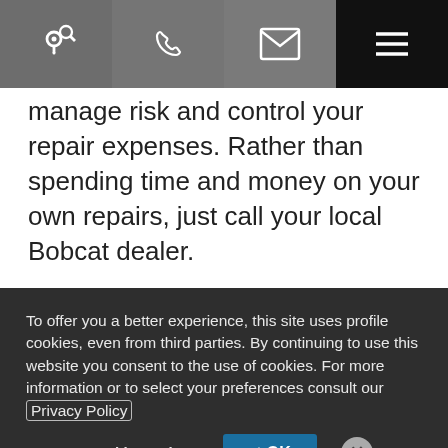[navigation bar with search, phone, email, and menu icons]
manage risk and control your repair expenses. Rather than spending time and money on your own repairs, just call your local Bobcat dealer.
Like-New Machine Features
To offer you a better experience, this site uses profile cookies, even from third parties. By continuing to use this website you consent to the use of cookies. For more information or to select your preferences consult our Privacy Policy
Cookie Settings  ✓ OK